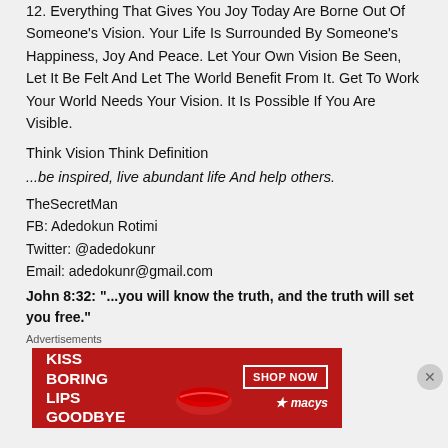12. Everything That Gives You Joy Today Are Borne Out Of Someone's Vision. Your Life Is Surrounded By Someone's Happiness, Joy And Peace. Let Your Own Vision Be Seen, Let It Be Felt And Let The World Benefit From It. Get To Work Your World Needs Your Vision. It Is Possible If You Are Visible.
Think Vision Think Definition
...be inspired, live abundant life And help others.
TheSecretMan
FB: Adedokun Rotimi
Twitter: @adedokunr
Email: adedokunr@gmail.com
John 8:32: “...you will know the truth, and the truth will set you free.”
Advertisements
[Figure (other): Macy's advertisement banner: KISS BORING LIPS GOODBYE with SHOP NOW button and Macy's logo with star, featuring a woman's face with red lips]